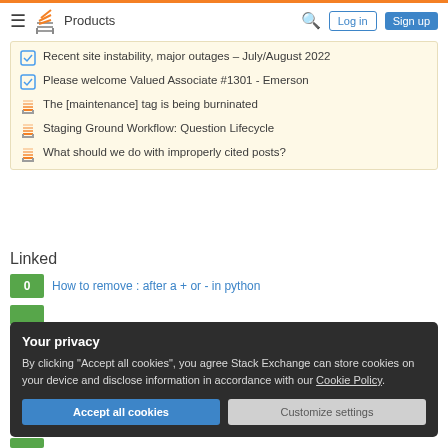≡  [Stack Overflow logo]  Products  🔍  Log in  Sign up
Recent site instability, major outages – July/August 2022
Please welcome Valued Associate #1301 - Emerson
The [maintenance] tag is being burninated
Staging Ground Workflow: Question Lifecycle
What should we do with improperly cited posts?
Linked
0  How to remove : after a + or - in python
Your privacy
By clicking "Accept all cookies", you agree Stack Exchange can store cookies on your device and disclose information in accordance with our Cookie Policy.
[Accept all cookies]  [Customize settings]